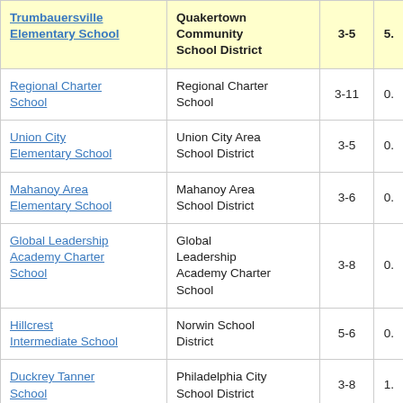| School | District | Grades | Score |
| --- | --- | --- | --- |
| Trumbauersville Elementary School | Quakertown Community School District | 3-5 | 5. |
| Regional Charter School | Regional Charter School | 3-11 | 0. |
| Union City Elementary School | Union City Area School District | 3-5 | 0. |
| Mahanoy Area Elementary School | Mahanoy Area School District | 3-6 | 0. |
| Global Leadership Academy Charter School | Global Leadership Academy Charter School | 3-8 | 0. |
| Hillcrest Intermediate School | Norwin School District | 5-6 | 0. |
| Duckrey Tanner School | Philadelphia City School District | 3-8 | 1. |
| Mt Penn Elementary | Antietam School | 3-6 | 0 |